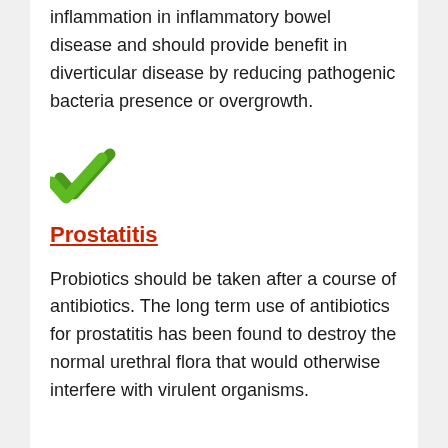inflammation in inflammatory bowel disease and should provide benefit in diverticular disease by reducing pathogenic bacteria presence or overgrowth.
[Figure (illustration): Green double checkmark icon]
Prostatitis
Probiotics should be taken after a course of antibiotics. The long term use of antibiotics for prostatitis has been found to destroy the normal urethral flora that would otherwise interfere with virulent organisms.